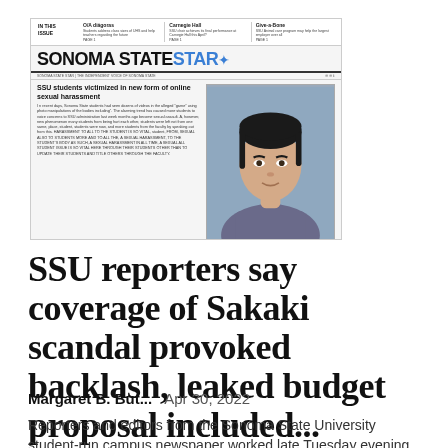[Figure (screenshot): Screenshot of the Sonoma State Star newspaper front page showing a headline about SSU students being victimized in online sexual harassment, with a photo of an Asian woman (president Sakaki).]
SSU reporters say coverage of Sakaki scandal provoked backlash, leaked budget proposal included...
Margaret B. But...   Apr 30, 2022
Reporters and editors from the Sonoma State University student-run campus newspaper worked late Tuesday evening to assemble and deliver 500 copies of their most recent issue to campus newsstands. The April 26 edition of the Sonoma...